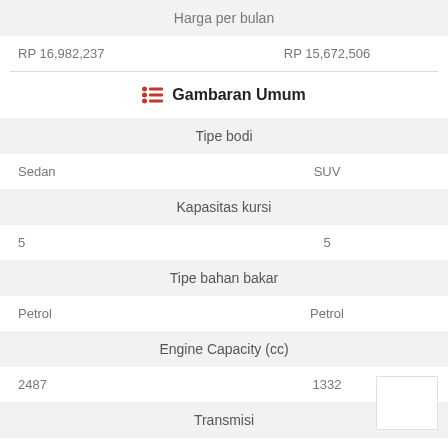Harga per bulan
RP 16,982,237    RP 15,672,506
Gambaran Umum
Tipe bodi
Sedan    SUV
Kapasitas kursi
5    5
Tipe bahan bakar
Petrol    Petrol
Engine Capacity (cc)
2487    1332
Transmisi